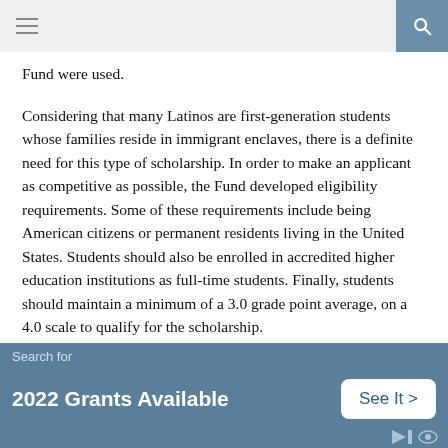Fund were used.
Considering that many Latinos are first-generation students whose families reside in immigrant enclaves, there is a definite need for this type of scholarship. In order to make an applicant as competitive as possible, the Fund developed eligibility requirements. Some of these requirements include being American citizens or permanent residents living in the United States. Students should also be enrolled in accredited higher education institutions as full-time students. Finally, students should maintain a minimum of a 3.0 grade point average, on a 4.0 scale to qualify for the scholarship.
Typically, these scholarships will range between $500 to $5,000.
Search for
2022 Grants Available
See It >